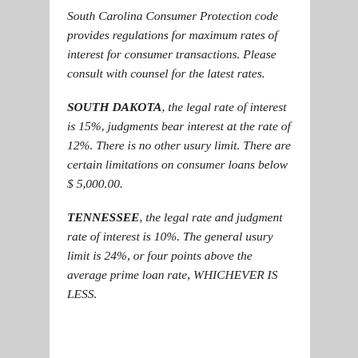South Carolina Consumer Protection code provides regulations for maximum rates of interest for consumer transactions. Please consult with counsel for the latest rates.
SOUTH DAKOTA, the legal rate of interest is 15%, judgments bear interest at the rate of 12%. There is no other usury limit. There are certain limitations on consumer loans below $ 5,000.00.
TENNESSEE, the legal rate and judgment rate of interest is 10%. The general usury limit is 24%, or four points above the average prime loan rate, WHICHEVER IS LESS.